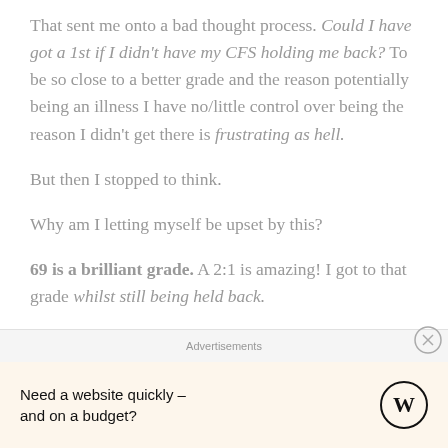That sent me onto a bad thought process. Could I have got a 1st if I didn't have my CFS holding me back? To be so close to a better grade and the reason potentially being an illness I have no/little control over being the reason I didn't get there is frustrating as hell.
But then I stopped to think.
Why am I letting myself be upset by this?
69 is a brilliant grade. A 2:1 is amazing! I got to that grade whilst still being held back.
Advertisements
Need a website quickly – and on a budget?